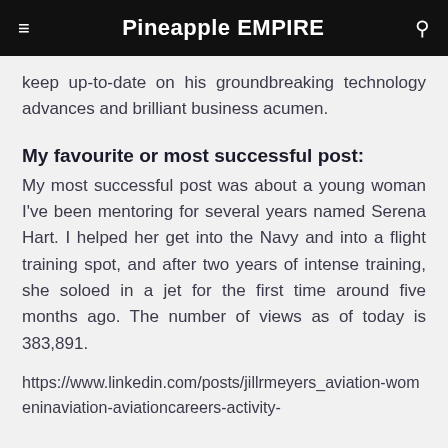Pineapple EMPIRE
keep up-to-date on his groundbreaking technology advances and brilliant business acumen.
My favourite or most successful post:
My most successful post was about a young woman I've been mentoring for several years named Serena Hart. I helped her get into the Navy and into a flight training spot, and after two years of intense training, she soloed in a jet for the first time around five months ago. The number of views as of today is 383,891.
https://www.linkedin.com/posts/jillrmeyers_aviation-womeninaviation-aviationcareers-activity-